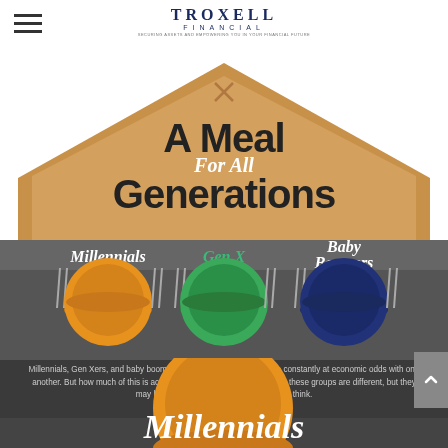[Figure (logo): Troxell Financial logo with hamburger menu icon on left]
[Figure (infographic): A Meal For All Generations infographic showing three generational groups (Millennials, Gen X, Baby Boomers) represented as dinner plates on a table inside a house shape, with descriptive text below and a Millennials section starting at the bottom]